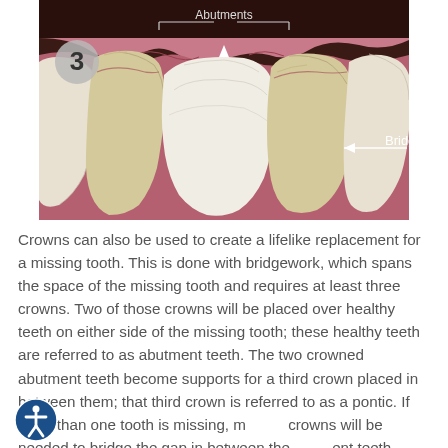[Figure (illustration): Dental bridge illustration showing step 3: abutment teeth prepared with crowns on either side and a bridge being placed. Labels point to 'Abutments' at the top and 'Bridge' on the right side. Dark brownish-red background with realistic teeth anatomy.]
Crowns can also be used to create a lifelike replacement for a missing tooth. This is done with bridgework, which spans the space of the missing tooth and requires at least three crowns. Two of those crowns will be placed over healthy teeth on either side of the missing tooth; these healthy teeth are referred to as abutment teeth. The two crowned abutment teeth become supports for a third crown placed in between them; that third crown is referred to as a pontic. If more than one tooth is missing, more crowns will be needed to bridge the gap in between the abutment teeth.